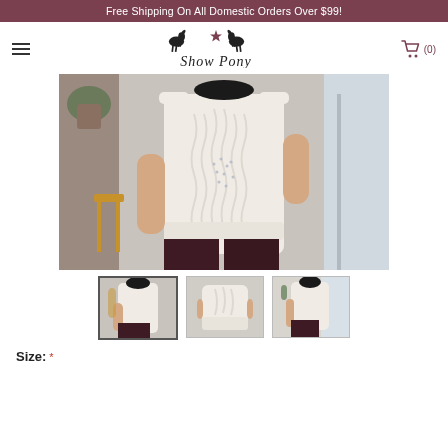Free Shipping On All Domestic Orders Over $99!
[Figure (logo): Show Pony logo with two horse silhouettes and a star, serif italic text 'Show Pony' below]
[Figure (photo): Main product photo: woman wearing cream/ivory cable-knit sleeveless sweater top with rhinestone detail, dark maroon pants, indoor setting with brick wall and plants]
[Figure (photo): Thumbnail 1 (selected): back view of woman wearing cream cable-knit sleeveless sweater top]
[Figure (photo): Thumbnail 2: front/side close-up of cream cable-knit sleeveless sweater top]
[Figure (photo): Thumbnail 3: back view of woman wearing cream cable-knit sleeveless sweater top near window]
Size: